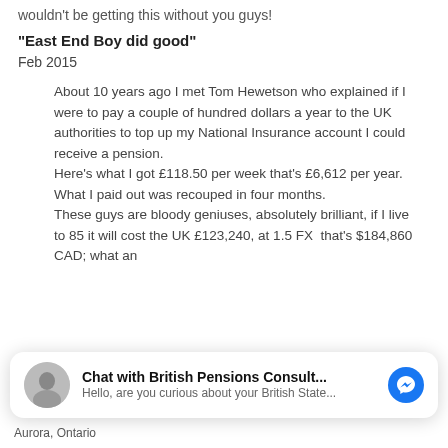wouldn't be getting this without you guys!
"East End Boy did good"
Feb 2015
About 10 years ago I met Tom Hewetson who explained if I were to pay a couple of hundred dollars a year to the UK authorities to top up my National Insurance account I could receive a pension.
Here's what I got £118.50 per week that's £6,612 per year.
What I paid out was recouped in four months.
These guys are bloody geniuses, absolutely brilliant, if I live to 85 it will cost the UK £123,240, at 1.5 FX  that's $184,860 CAD; what an
[Figure (screenshot): Chat with British Pensions Consult... messenger overlay with avatar photo of an older man and text 'Hello, are you curious about your British State...']
Aurora, Ontario